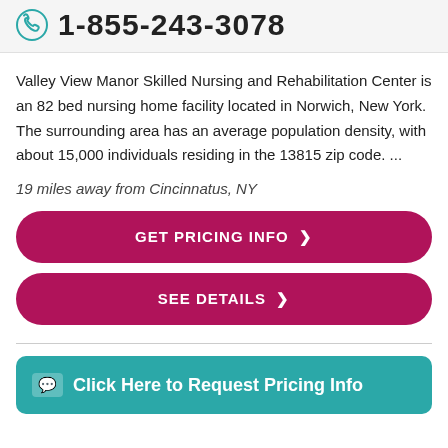1-855-243-3078
Valley View Manor Skilled Nursing and Rehabilitation Center is an 82 bed nursing home facility located in Norwich, New York. The surrounding area has an average population density, with about 15,000 individuals residing in the 13815 zip code. ...
19 miles away from Cincinnatus, NY
GET PRICING INFO >
SEE DETAILS >
Click Here to Request Pricing Info